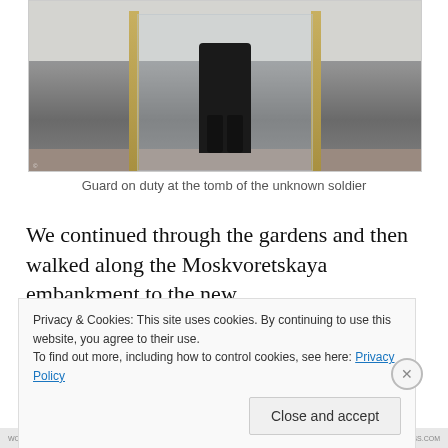[Figure (photo): A guard standing at attention in a glass doorway with gold-colored columns at the tomb of the unknown soldier. The guard is dressed in black uniform and boots. Snow or white ground visible in background.]
Guard on duty at the tomb of the unknown soldier
We continued through the gardens and then walked along the Moskvoretskaya embankment to the new
Privacy & Cookies: This site uses cookies. By continuing to use this website, you agree to their use.
To find out more, including how to control cookies, see here: Privacy Policy
Close and accept